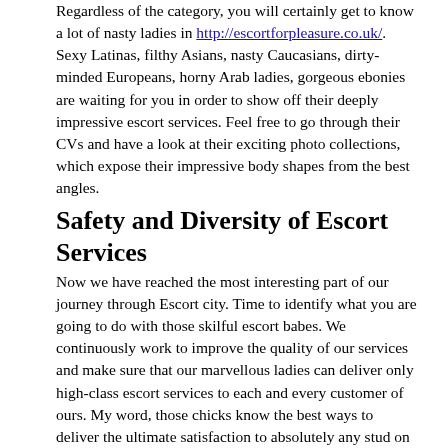Regardless of the category, you will certainly get to know a lot of nasty ladies in http://escortforpleasure.co.uk/. Sexy Latinas, filthy Asians, nasty Caucasians, dirty-minded Europeans, horny Arab ladies, gorgeous ebonies are waiting for you in order to show off their deeply impressive escort services. Feel free to go through their CVs and have a look at their exciting photo collections, which expose their impressive body shapes from the best angles.
Safety and Diversity of Escort Services
Now we have reached the most interesting part of our journey through Escort city. Time to identify what you are going to do with those skilful escort babes. We continuously work to improve the quality of our services and make sure that our marvellous ladies can deliver only high-class escort services to each and every customer of ours. My word, those chicks know the best ways to deliver the ultimate satisfaction to absolutely any stud on this sinful planet. Hereby, feel free to implement your dreams with breathtaking dick-sucking, arousing escort massage, lecherous cosplays, incredible toying, amazing anal sex, stunning handjobs, unforgettable pissing, passionate group sex and many more. Our hotties will undoubtedly do anything they can to satisfy you to the maximum.
When it comes to private information, we take it very seriously and ensure that it stays totally secure at all times. Top-quality escort services and safety in operations make our